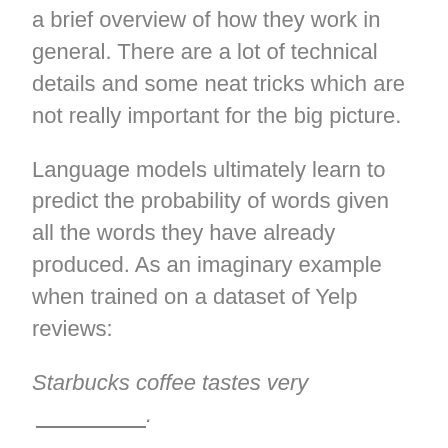a brief overview of how they work in general. There are a lot of technical details and some neat tricks which are not really important for the big picture.
Language models ultimately learn to predict the probability of words given all the words they have already produced. As an imaginary example when trained on a dataset of Yelp reviews:
Starbucks coffee tastes very ____________.
The model might predict that the probability of the next word being “bad” is 70%. I am exaggerating here, considering that the vocabulary size is quite large the real probability will probably be lower.You feed the